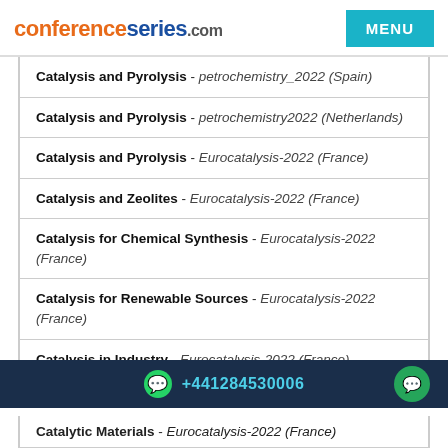conferenceseries.com MENU
Catalysis and Pyrolysis - petrochemistry_2022 (Spain)
Catalysis and Pyrolysis - petrochemistry2022 (Netherlands)
Catalysis and Pyrolysis - Eurocatalysis-2022 (France)
Catalysis and Zeolites - Eurocatalysis-2022 (France)
Catalysis for Chemical Synthesis - Eurocatalysis-2022 (France)
Catalysis for Renewable Sources - Eurocatalysis-2022 (France)
Catalysis in Industry - Eurocatalysis-2022 (France)
+441284530006
Catalytic Materials - Eurocatalysis-2022 (France)